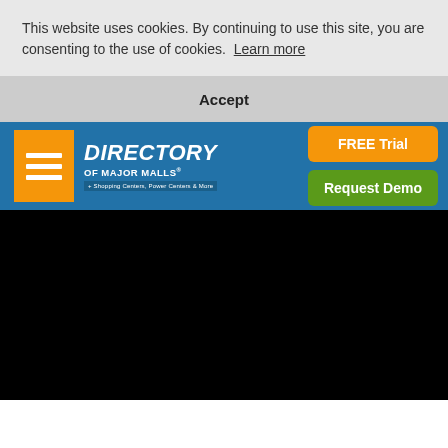This website uses cookies. By continuing to use this site, you are consenting to the use of cookies. Learn more
Accept
[Figure (logo): Directory of Major Malls logo with hamburger menu icon and navigation buttons: FREE Trial (orange) and Request Demo (green)]
[Figure (other): Black video player area]